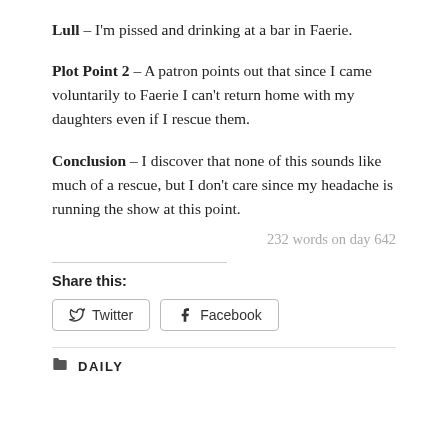Lull – I'm pissed and drinking at a bar in Faerie.
Plot Point 2 – A patron points out that since I came voluntarily to Faerie I can't return home with my daughters even if I rescue them.
Conclusion – I discover that none of this sounds like much of a rescue, but I don't care since my headache is running the show at this point.
232 words on day 642
Share this:
Twitter
Facebook
DAILY